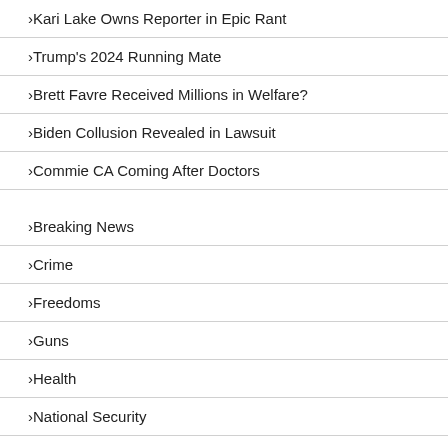Kari Lake Owns Reporter in Epic Rant
Trump's 2024 Running Mate
Brett Favre Received Millions in Welfare?
Biden Collusion Revealed in Lawsuit
Commie CA Coming After Doctors
Breaking News
Crime
Freedoms
Guns
Health
National Security
Opinion